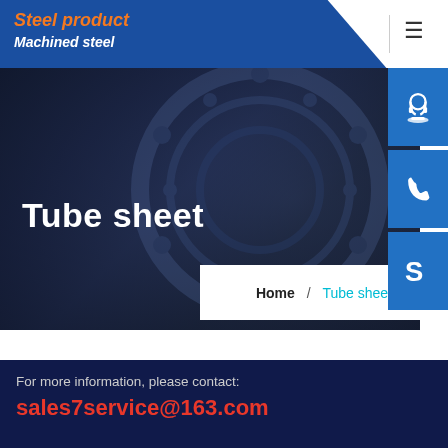Steel product / Machined steel
Tube sheet
Home / Tube sheet
For more information, please contact:
sales7service@163.com